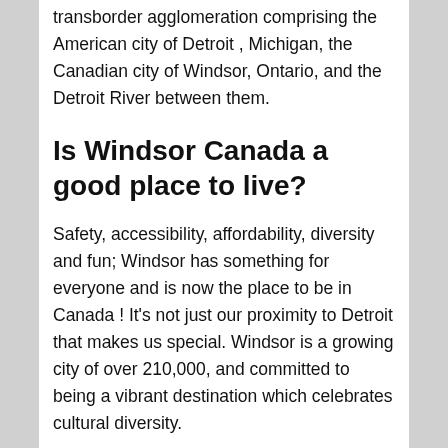transborder agglomeration comprising the American city of Detroit , Michigan, the Canadian city of Windsor, Ontario, and the Detroit River between them.
Is Windsor Canada a good place to live?
Safety, accessibility, affordability, diversity and fun; Windsor has something for everyone and is now the place to be in Canada ! It's not just our proximity to Detroit that makes us special. Windsor is a growing city of over 210,000, and committed to being a vibrant destination which celebrates cultural diversity.